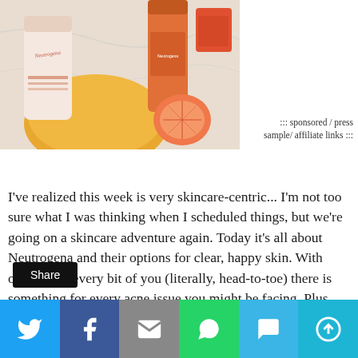[Figure (photo): Neutrogena skincare products with grapefruit, arranged on a marble surface — bottles and tubes in orange and pink tones]
::: sponsored / press sample/ affiliate links :::
I've realized this week is very skincare-centric... I'm not too sure what I was thinking when I scheduled things, but we're going on a skincare adventure again. Today it's all about Neutrogena and their options for clear, happy skin. With options for every bit of you (literally, head-to-toe) there is something for every acne issue you might be facing. Plus, some have a really great grapefruit scent- I'm hooked on the scent! Read on!
Share
[Figure (infographic): Social sharing bar with Twitter, Facebook, Email, WhatsApp, SMS, and More buttons]